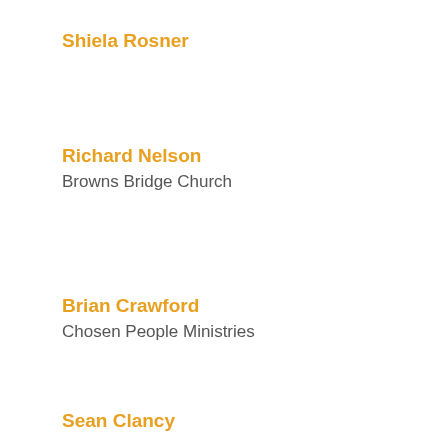Shiela Rosner
Richard Nelson
Browns Bridge Church
Brian Crawford
Chosen People Ministries
Sean Clancy